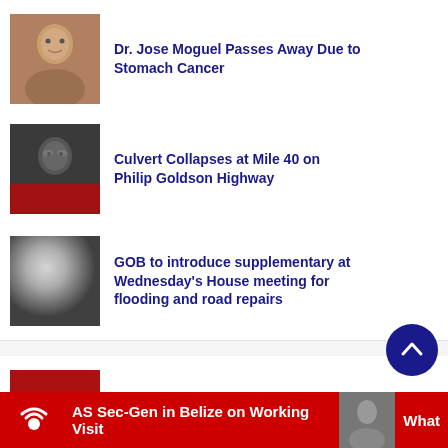[Figure (photo): Thumbnail image of Dr. Jose Moguel]
Dr. Jose Moguel Passes Away Due to Stomach Cancer
[Figure (photo): Thumbnail image related to culvert collapse news]
Culvert Collapses at Mile 40 on Philip Goldson Highway
[Figure (photo): Thumbnail image related to GOB supplementary news]
GOB to introduce supplementary at Wednesday's House meeting for flooding and road repairs
[Figure (photo): Partial thumbnail of fourth news story]
AS Sec-Gen in Belize on Working Visit   What